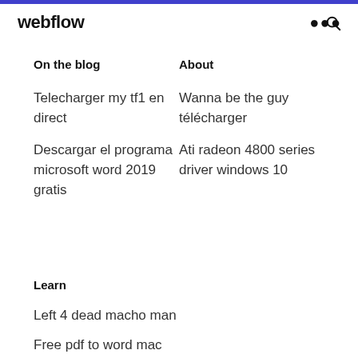webflow
On the blog
About
Telecharger my tf1 en direct
Wanna be the guy télécharger
Descargar el programa microsoft word 2019 gratis
Ati radeon 4800 series driver windows 10
Learn
Left 4 dead macho man
Free pdf to word mac